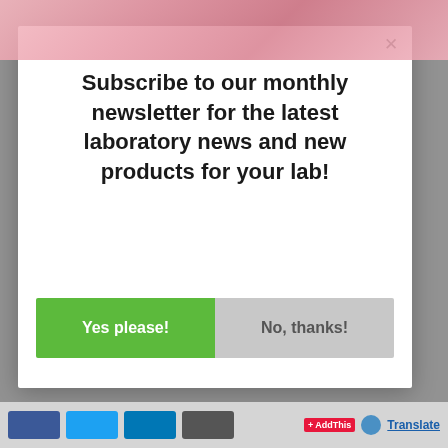[Figure (screenshot): Pink blurred laboratory image strip at the top of the page, partially visible behind a modal dialog overlay.]
Subscribe to our monthly newsletter for the latest laboratory news and new products for your lab!
Yes please!
No, thanks!